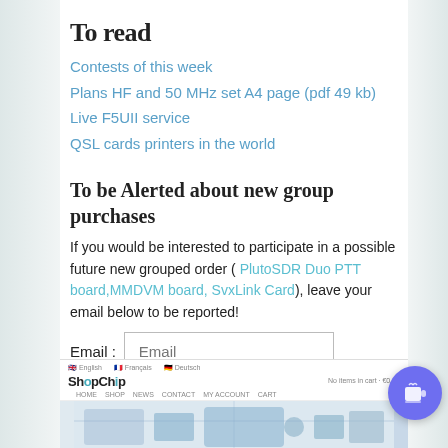To read
Contests of this week
Plans HF and 50 MHz set A4 page (pdf 49 kb)
Live F5UII service
QSL cards printers in the world
To be Alerted about new group purchases
If you would be interested to participate in a possible future new grouped order ( PlutoSDR Duo PTT board,MMDVM board, SvxLink Card), leave your email below to be reported!
Email :  [input field]  Alert [button]
[Figure (screenshot): ShopChip website screenshot showing logo and circuit board image]